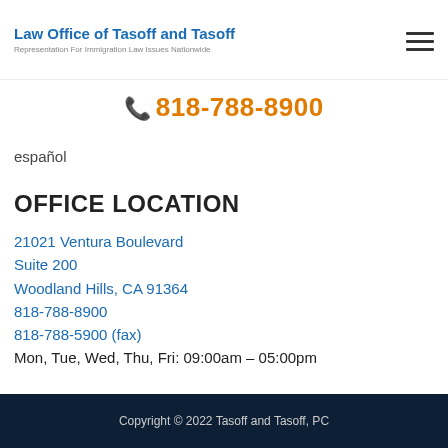Law Office of Tasoff and Tasoff
Representation For Immigration Law Issues Nationwide
📞 818-788-8900
español
OFFICE LOCATION
21021 Ventura Boulevard
Suite 200
Woodland Hills, CA 91364
818-788-8900
818-788-5900 (fax)
Mon, Tue, Wed, Thu, Fri: 09:00am – 05:00pm
Copyright © 2022 Tasoff and Tasoff, PC